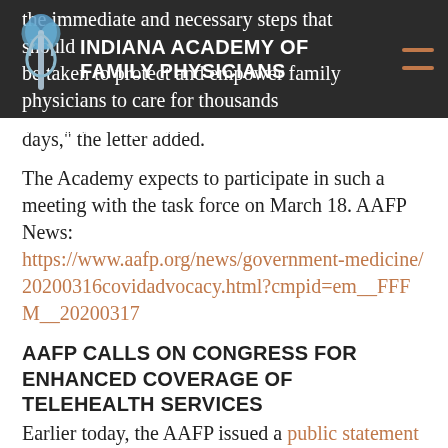Indiana Academy of Family Physicians
the immediate and necessary steps that should be taken to protect and empower family physicians to care for thousands of patients impacted by COVID-19 in the coming days," the letter added.
The Academy expects to participate in such a meeting with the task force on March 18. AAFP News: https://www.aafp.org/news/government-medicine/20200316covidadvocacy.html?cmpid=em__FFFM__20200317
AAFP CALLS ON CONGRESS FOR ENHANCED COVERAGE OF TELEHEALTH SERVICES
Earlier today, the AAFP issued a public statement regarding the need for new policies that will enhance coverage and payment for telemedicine and virtual care. The statement calls on all